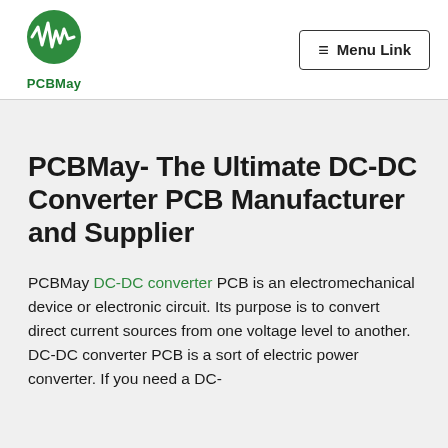PCBMay | Menu Link
PCBMay- The Ultimate DC-DC Converter PCB Manufacturer and Supplier
PCBMay DC-DC converter PCB is an electromechanical device or electronic circuit. Its purpose is to convert direct current sources from one voltage level to another. DC-DC converter PCB is a sort of electric power converter. If you need a DC-